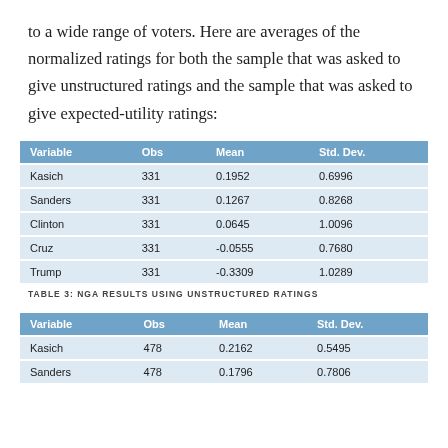to a wide range of voters. Here are averages of the normalized ratings for both the sample that was asked to give unstructured ratings and the sample that was asked to give expected-utility ratings:
| Variable | Obs | Mean | Std. Dev. |
| --- | --- | --- | --- |
| Kasich | 331 | 0.1952 | 0.6996 |
| Sanders | 331 | 0.1267 | 0.8268 |
| Clinton | 331 | 0.0645 | 1.0096 |
| Cruz | 331 | -0.0555 | 0.7680 |
| Trump | 331 | -0.3309 | 1.0289 |
TABLE 3: NGA RESULTS USING UNSTRUCTURED RATINGS
| Variable | Obs | Mean | Std. Dev. |
| --- | --- | --- | --- |
| Kasich | 478 | 0.2162 | 0.5495 |
| Sanders | 478 | 0.1796 | 0.7806 |